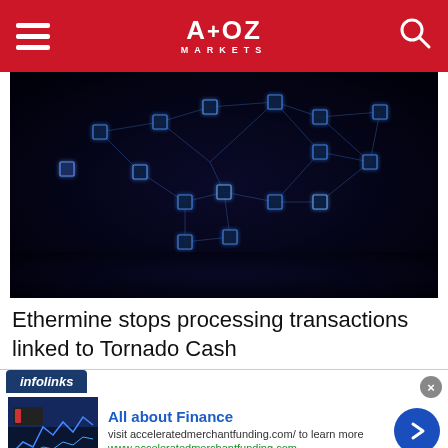A+OZ MARKETS
[Figure (illustration): 3D rendered blockchain network visualization showing interconnected glowing blue cubes on a dark background, representing distributed ledger technology.]
Ethermine stops processing transactions linked to Tornado Cash
[Figure (infographic): Infolinks advertisement banner: 'All about Finance' - visit acceleratedmerchantfunding.com/ to learn more. www.acceleratedmerchantfunding.com. Shows a financial chart thumbnail on the left and a blue arrow button on the right.]